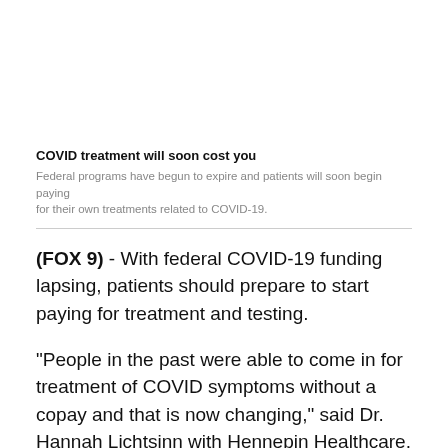COVID treatment will soon cost you
Federal programs have begun to expire and patients will soon begin paying for their own treatments related to COVID-19.
(FOX 9) - With federal COVID-19 funding lapsing, patients should prepare to start paying for treatment and testing.
"People in the past were able to come in for treatment of COVID symptoms without a copay and that is now changing," said Dr. Hannah Lichtsinn with Hennepin Healthcare.